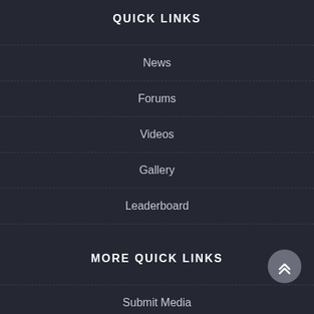QUICK LINKS
News
Forums
Videos
Gallery
Leaderboard
MORE QUICK LINKS
Submit Media
Download Media
EmuMovies Sync
Member Support
Contact Us